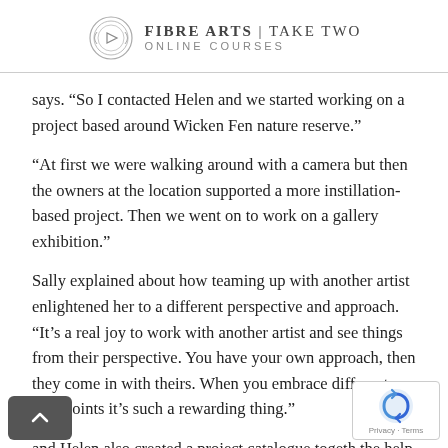Fibre Arts | Take Two Online Courses
says. “So I contacted Helen and we started working on a project based around Wicken Fen nature reserve.”
“At first we were walking around with a camera but then the owners at the location supported a more instillation-based project. Then we went on to work on a gallery exhibition.”
Sally explained about how teaming up with another artist enlightened her to a different perspective and approach. “It’s a real joy to work with another artist and see things from their perspective. You have your own approach, then they come in with theirs. When you embrace different viewpoints it’s such a rewarding thing.”
and Helen also created a project catalogue togeth the help of an illustrator/graphic designer. “It’s amazing